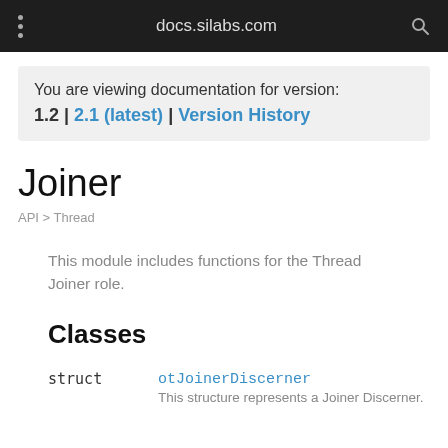docs.silabs.com
You are viewing documentation for version:
1.2 | 2.1 (latest) | Version History
Joiner
API > Thread
This module includes functions for the Thread Joiner role.
Classes
|  |  |
| --- | --- |
| struct | otJoinerDiscerner
This structure represents a Joiner Discerner. |